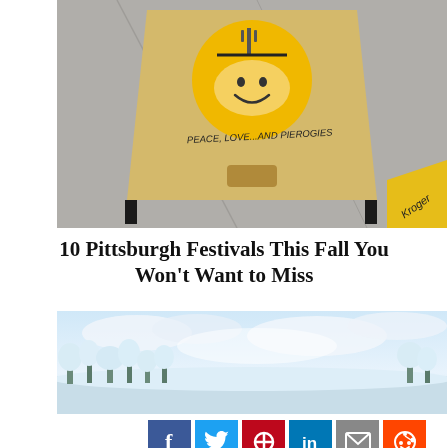[Figure (photo): A-frame sandwich board sign on pavement reading 'PEACE, LOVE...AND PIEROGIES' with a cartoon pierogi mascot logo on a yellow circular background. A black stand and yellow Kroger branding visible in background.]
10 Pittsburgh Festivals This Fall You Won’t Want to Miss
[Figure (photo): Winter landscape with snow-covered trees under a bright cloudy sky, low angle view of snowy hillside.]
[Figure (infographic): Social media share buttons row: Facebook (blue), Twitter (light blue), Pinterest (red), LinkedIn (blue), Email (grey), Reddit (orange)]